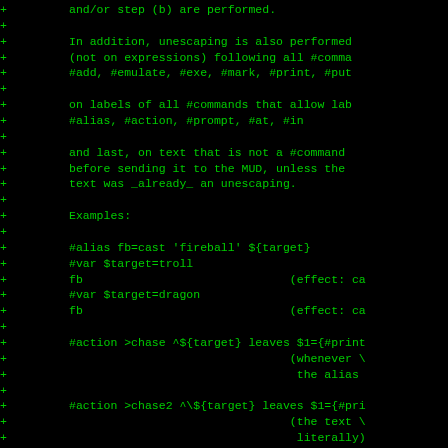Diff/patch output showing code changes with + markers, including examples of #alias, #action, #var commands and WARNINGS section